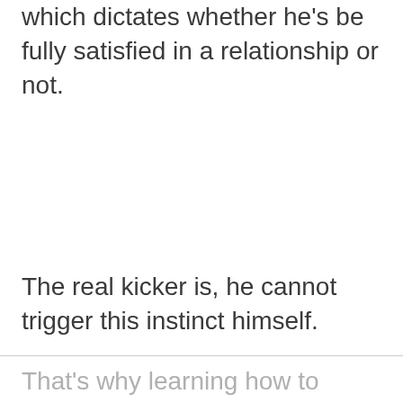which dictates whether he's be fully satisfied in a relationship or not.
The real kicker is, he cannot trigger this instinct himself.
That's why learning how to bring this instinct out in your man really is a game-changer when it comes